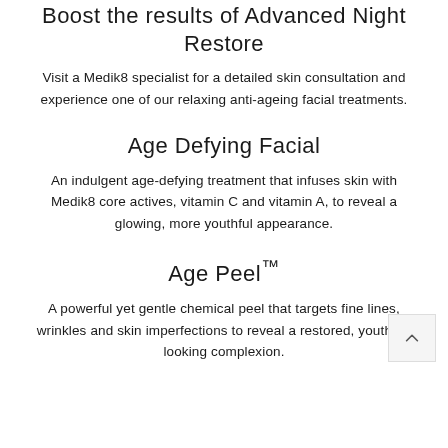Boost the results of Advanced Night Restore
Visit a Medik8 specialist for a detailed skin consultation and experience one of our relaxing anti-ageing facial treatments.
Age Defying Facial
An indulgent age-defying treatment that infuses skin with Medik8 core actives, vitamin C and vitamin A, to reveal a glowing, more youthful appearance.
Age Peel™
A powerful yet gentle chemical peel that targets fine lines, wrinkles and skin imperfections to reveal a restored, youthful-looking complexion.